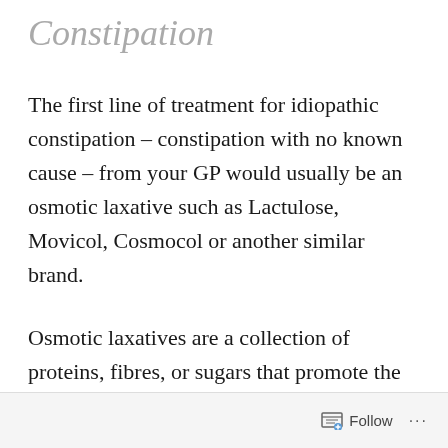Constipation
The first line of treatment for idiopathic constipation – constipation with no known cause – from your GP would usually be an osmotic laxative such as Lactulose, Movicol, Cosmocol or another similar brand.
Osmotic laxatives are a collection of proteins, fibres, or sugars that promote the movement of water into the colon through a process called osmosis.
Follow ...